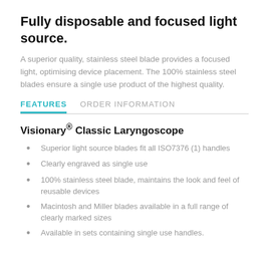Fully disposable and focused light source.
A superior quality, stainless steel blade provides a focused light, optimising device placement. The 100% stainless steel blades ensure a single use product of the highest quality.
FEATURES   ORDER INFORMATION
Visionary® Classic Laryngoscope
Superior light source blades fit all ISO7376 (1) handles
Clearly engraved as single use
100% stainless steel blade, maintains the look and feel of reusable devices
Macintosh and Miller blades available in a full range of clearly marked sizes
Available in sets containing single use handles.